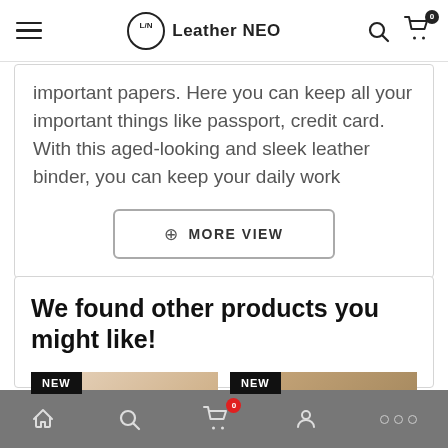Leather NEO — navigation header with hamburger menu, logo, search icon, cart icon
important papers. Here you can keep all your important things like passport, credit card. With this aged-looking and sleek leather binder, you can keep your daily work
MORE VIEW
We found other products you might like!
[Figure (photo): NEW badge on a product card, product thumbnail left]
[Figure (photo): NEW badge on a product card, product thumbnail right]
Bottom navigation bar with home, search, cart (badge: 0), account, and more icons